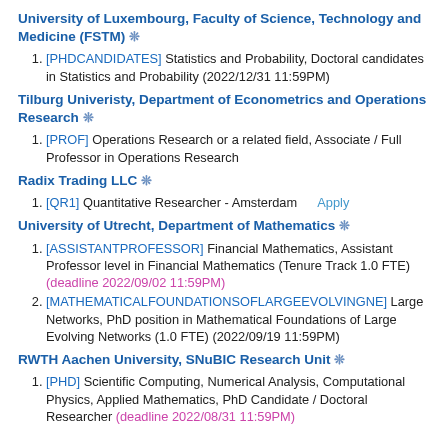University of Luxembourg, Faculty of Science, Technology and Medicine (FSTM) ❊
[PHDCANDIDATES] Statistics and Probability, Doctoral candidates in Statistics and Probability (2022/12/31 11:59PM)
Tilburg Univeristy, Department of Econometrics and Operations Research ❊
[PROF] Operations Research or a related field, Associate / Full Professor in Operations Research
Radix Trading LLC ❊
[QR1] Quantitative Researcher - Amsterdam   Apply
University of Utrecht, Department of Mathematics ❊
[ASSISTANTPROFESSOR] Financial Mathematics, Assistant Professor level in Financial Mathematics (Tenure Track 1.0 FTE) (deadline 2022/09/02 11:59PM)
[MATHEMATICALFOUNDATIONSOFLARGEEVOLVINGNE] Large Networks, PhD position in Mathematical Foundations of Large Evolving Networks (1.0 FTE) (2022/09/19 11:59PM)
RWTH Aachen University, SNuBIC Research Unit ❊
[PHD] Scientific Computing, Numerical Analysis, Computational Physics, Applied Mathematics, PhD Candidate / Doctoral Researcher (deadline 2022/08/31 11:59PM)